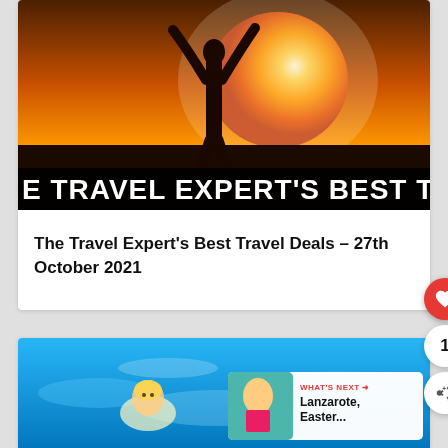[Figure (photo): Person silhouette against a bright sunset/sunrise sky with outstretched arms, with text overlay 'E TRAVEL EXPERT'S BEST TRAVEL DEA' in bold white on black bar]
The Travel Expert's Best Travel Deals – 27th October 2021
[Figure (photo): Child swimming in bright blue pool water, with 'WHAT'S NEXT' banner showing thumbnail and text 'Lanzarote, Easter...']